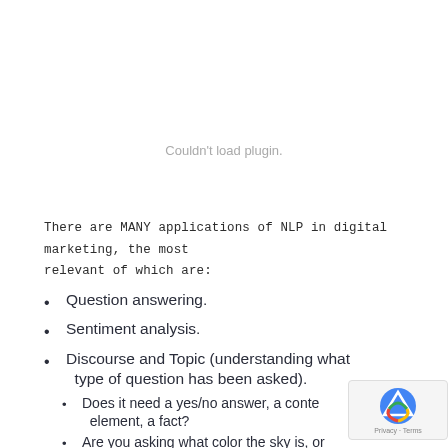[Figure (screenshot): Plugin load error placeholder area with grey text 'Couldn't load plugin.']
There are MANY applications of NLP in digital marketing, the most relevant of which are:
Question answering.
Sentiment analysis.
Discourse and Topic (understanding what type of question has been asked).
Does it need a yes/no answer, a content element, a fact?
Are you asking what color the sky is, or…